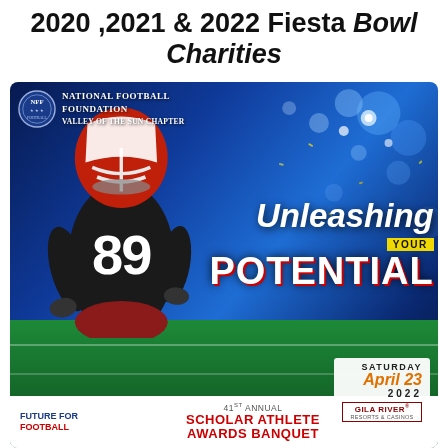2020, 2021 & 2022 Fiesta Bowl Charities
[Figure (illustration): National Football Foundation Valley of the Sun Chapter event poster showing a football player wearing jersey #89 with helmet, set against a stadium background with blue lighting and bokeh effects. Text reads 'Unleashing YOUR POTENTIAL'. Bottom section shows Saturday April 23 2022, 41st Annual Scholar Athlete Awards Banquet, Gila River Resorts & Casinos, Future for Football logo.]